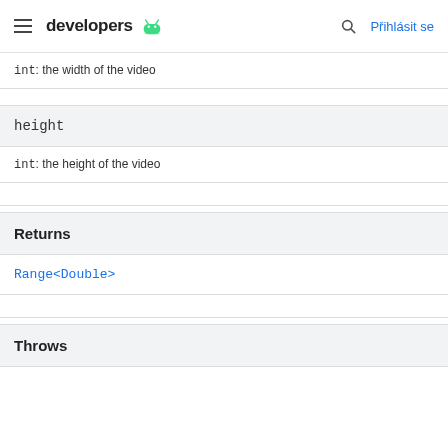developers  Přihlásit se
int: the width of the video
height
int: the height of the video
Returns
Range<Double>
Throws